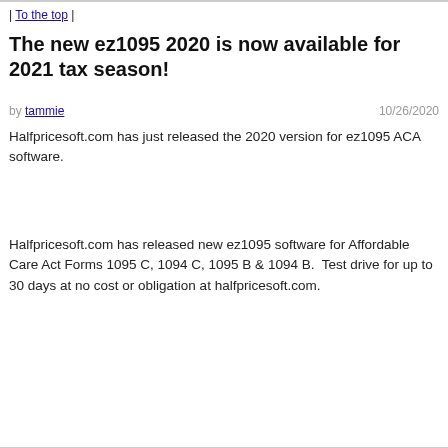| To the top |
The new ez1095 2020 is now available for 2021 tax season!
by tammie   10/26/2020
Halfpricesoft.com has just released the 2020 version for ez1095 ACA software.
Halfpricesoft.com has released new ez1095 software for Affordable Care Act Forms 1095 C, 1094 C, 1095 B & 1094 B.  Test drive for up to 30 days at no cost or obligation at halfpricesoft.com.